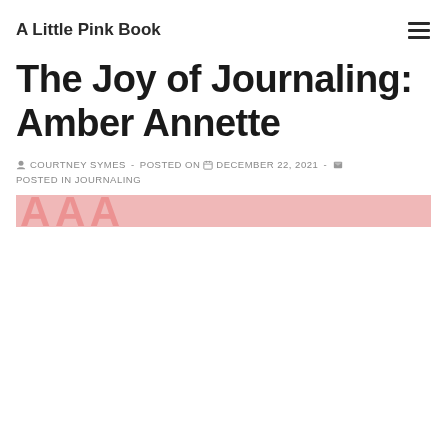A Little Pink Book
The Joy of Journaling: Amber Annette
COURTNEY SYMES  -  POSTED ON  DECEMBER 22, 2021  -  POSTED IN JOURNALING
[Figure (photo): Partial view of a featured image with pink background and large decorative text characters]